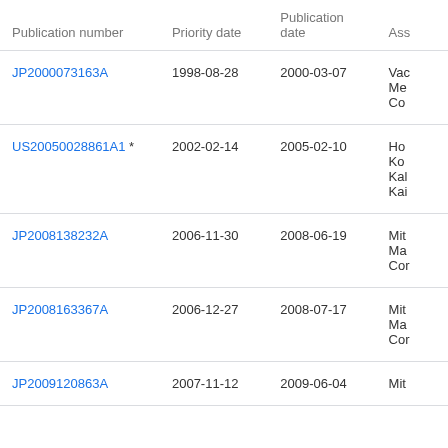| Publication number | Priority date | Publication date | Ass… |
| --- | --- | --- | --- |
| JP2000073163A | 1998-08-28 | 2000-03-07 | Vac… Me… Co… |
| US20050028861A1 * | 2002-02-14 | 2005-02-10 | Ho… Ko… Kal… Kai… |
| JP2008138232A | 2006-11-30 | 2008-06-19 | Mit… Ma… Cor… |
| JP2008163367A | 2006-12-27 | 2008-07-17 | Mit… Ma… Cor… |
| JP2009120863A | 2007-11-12 | 2009-06-04 | Mit… |